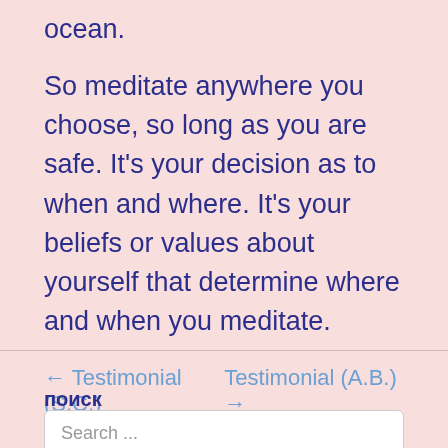ocean.
So meditate anywhere you choose, so long as you are safe. It's your decision as to when and where. It's your beliefs or values about yourself that determine where and when you meditate.
← Testimonial (S.C.)    Testimonial (A.B.) →
поиск
Search ...